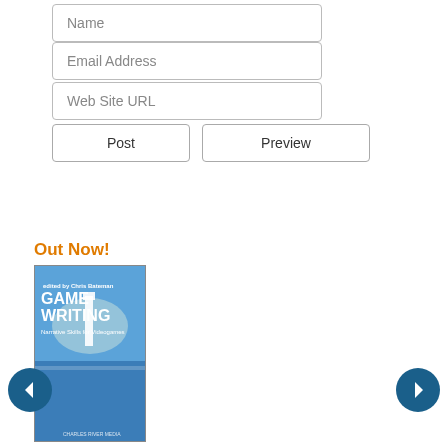[Figure (screenshot): Web form input field labeled 'Name' with rounded rectangle border]
[Figure (screenshot): Web form input field labeled 'Email Address' with rounded rectangle border]
[Figure (screenshot): Web form input field labeled 'Web Site URL' with rounded rectangle border]
[Figure (screenshot): Two buttons: 'Post' and 'Preview' with rounded rectangle borders]
Out Now!
[Figure (photo): Book cover for 'Game Writing: Narrative Skills for Videogames' edited by Chris Bateman, blue cover with lighthouse and water illustration]
[Figure (screenshot): Left navigation arrow circle button (dark blue with white left arrow)]
[Figure (screenshot): Right navigation arrow circle button (dark blue with white right arrow)]